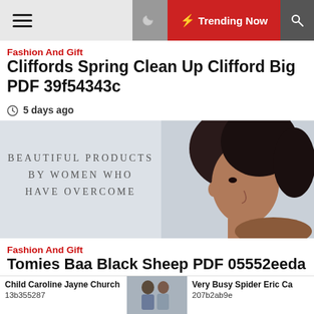≡  Trending Now 🔍
Fashion And Gift
Cliffords Spring Clean Up Clifford Big PDF 39f54343c
5 days ago
[Figure (photo): Woman with curly hair in profile view; text overlay reads BEAUTIFUL PRODUCTS BY WOMEN WHO HAVE OVERCOME]
Fashion And Gift
Tomies Baa Black Sheep PDF 05552eeda
5 days ago
Child Caroline Jayne Church 13b355287
[Figure (photo): Two people standing together outdoors]
Very Busy Spider Eric Ca 207b2ab9e